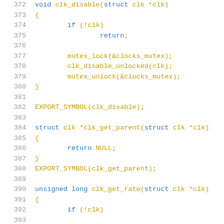[Figure (screenshot): C source code listing showing functions clk_disable, clk_get_parent, and clk_get_rate with line numbers 372-392, syntax-highlighted in blue and gold on white background.]